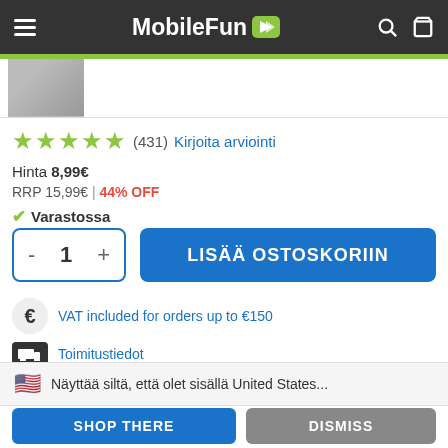MobileFun
[Figure (photo): Partial product thumbnail image at top left]
★★★★★ (431) Kirjoita arviointi
Hinta 8,99€
RRP 15,99€ | 44% OFF
✓ Varastossa
- 1 +
LISÄÄ OSTOSKORIIN
VAT included for orders up to €150
Toimituastiedot
🇺🇸 Näyttää siltä, että olet sisällä United States...
SHOP THERE
DISMISS